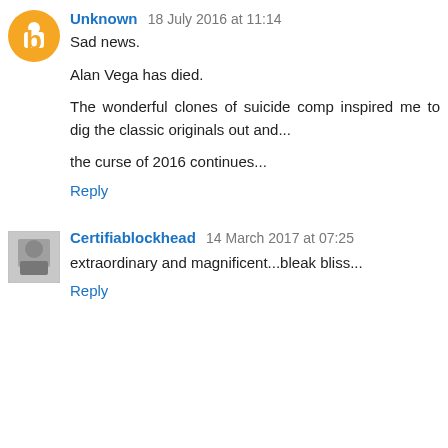Unknown 18 July 2016 at 11:14
Sad news.

Alan Vega has died.

The wonderful clones of suicide comp inspired me to dig the classic originals out and...

the curse of 2016 continues...
Reply
Certifiablockhead 14 March 2017 at 07:25
extraordinary and magnificent...bleak bliss...
Reply